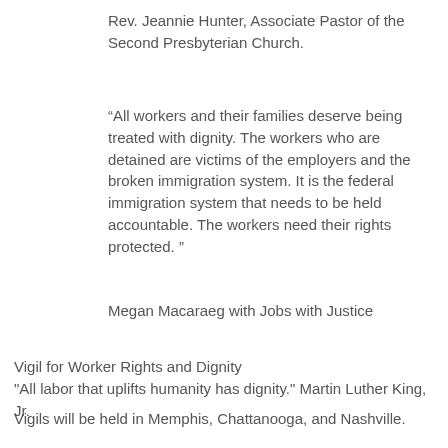Rev. Jeannie Hunter, Associate Pastor of the Second Presbyterian Church.
“All workers and their families deserve being treated with dignity. The workers who are detained are victims of the employers and the broken immigration system. It is the federal immigration system that needs to be held accountable. The workers need their rights protected. ”
Megan Macaraeg with Jobs with Justice
Vigil for Worker Rights and Dignity
"All labor that uplifts humanity has dignity." Martin Luther King, Jr.
Vigils will be held in Memphis, Chattanooga, and Nashville.